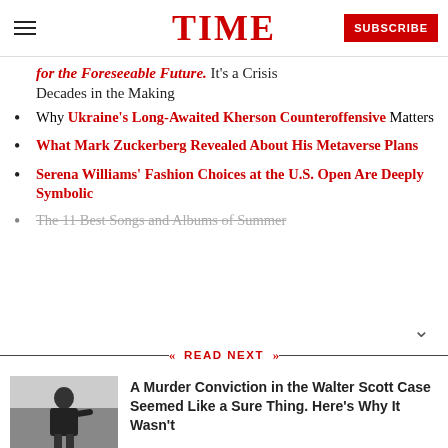TIME
for the Foreseeable Future. It's a Crisis Decades in the Making
Why Ukraine's Long-Awaited Kherson Counteroffensive Matters
What Mark Zuckerberg Revealed About His Metaverse Plans
Serena Williams' Fashion Choices at the U.S. Open Are Deeply Symbolic
The 11 Best Songs and Albums of Summer
READ NEXT
A Murder Conviction in the Walter Scott Case Seemed Like a Sure Thing. Here's Why It Wasn't
[Figure (photo): Man in dark suit gesturing, appears to be in a courtroom or formal setting]